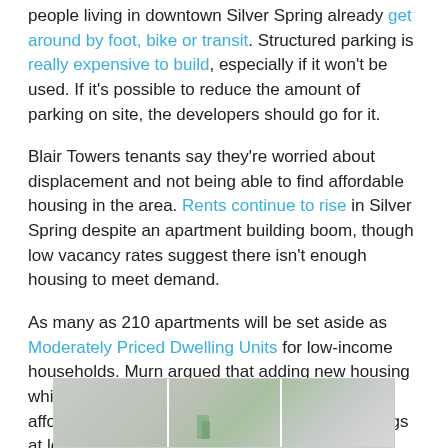people living in downtown Silver Spring already get around by foot, bike or transit. Structured parking is really expensive to build, especially if it won't be used. If it's possible to reduce the amount of parking on site, the developers should go for it.
Blair Towers tenants say they're worried about displacement and not being able to find affordable housing in the area. Rents continue to rise in Silver Spring despite an apartment building boom, though low vacancy rates suggest there isn't enough housing to meet demand.
As many as 210 apartments will be set aside as Moderately Priced Dwelling Units for low-income households. Murn argued that adding new housing while keeping some of the old will provide more affordable options. "I'm gonna have older buildings at lower price points than the newer buildings at higher price points," he says.
[Figure (photo): A photo strip showing building or street scenes, partially visible at the bottom of the page]